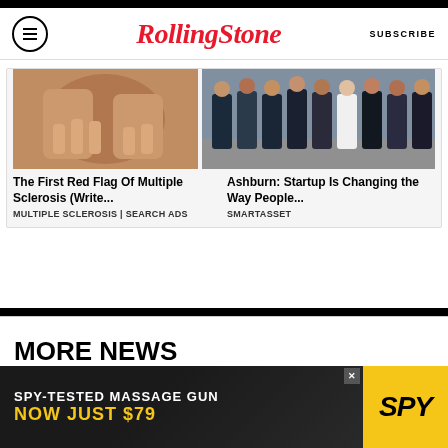Rolling Stone — SUBSCRIBE
[Figure (photo): Close-up of hands on a person's neck/back (medical/massage context)]
[Figure (photo): Group of people standing together on a cobblestone street]
The First Red Flag Of Multiple Sclerosis (Write...
MULTIPLE SCLEROSIS | SEARCH ADS
Ashburn: Startup Is Changing the Way People...
SMARTASSET
MORE NEWS
[Figure (screenshot): SPY-TESTED MASSAGE GUN NOW JUST $79 advertisement banner with yellow SPY logo]